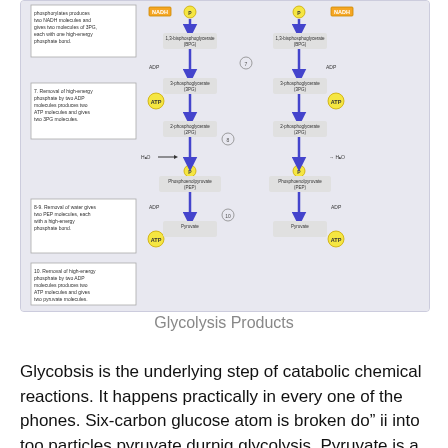[Figure (flowchart): Glycolysis pathway diagram showing steps of glycolysis with two parallel tracks. Includes labeled reaction steps in boxes on the left (steps 6, 7, 8-9, 10), molecular intermediates (1,3-bisphosphoglycerate, 3-phosphoglycerate, 2-phosphoglycerate, phosphoenolpyruvate, pyruvate), cofactors (NADH, ADP, ATP), and arrows showing the flow of reactions. Yellow circles represent ATP/ADP molecules, blue arrows show reaction direction.]
Glycolysis Products
Glycobsis is the underlying step of catabolic chemical reactions. It happens practically in every one of the phones. Six-carbon glucose atom is broken do” ii into too particles pyruvate durnig glycolysis. Pyruvate is a three carbon compound.